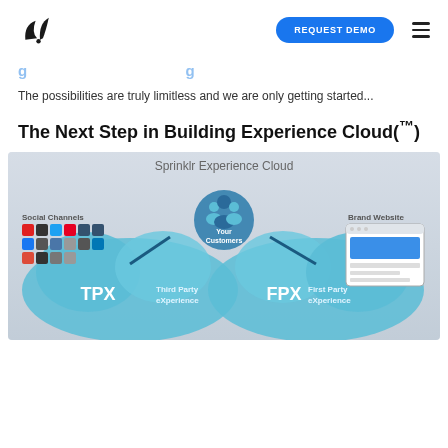Sprinklr logo | REQUEST DEMO | menu
[partial heading text — cropped]
The possibilities are truly limitless and we are only getting started...
The Next Step in Building Experience Cloud(™)
[Figure (infographic): Sprinklr Experience Cloud infographic showing 'Your Customers' at the top center with icons for Social Channels on the left and Brand Website on the right, and two cloud-shaped sections below: TPX (Third Party eXperience) on the left and FPX (First Party eXperience) on the right, all under 'Sprinklr Experience Cloud' label.]